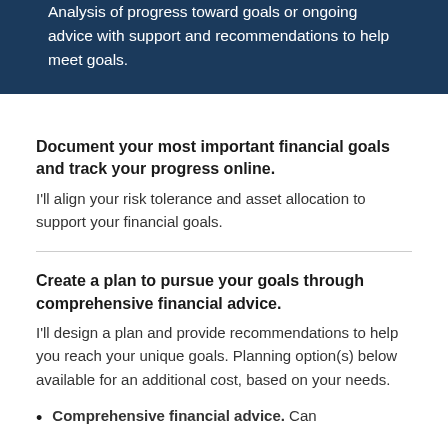Analysis of progress toward goals or ongoing advice with support and recommendations to help meet goals.
Document your most important financial goals and track your progress online.
I'll align your risk tolerance and asset allocation to support your financial goals.
Create a plan to pursue your goals through comprehensive financial advice.
I'll design a plan and provide recommendations to help you reach your unique goals. Planning option(s) below available for an additional cost, based on your needs.
Comprehensive financial advice. Can